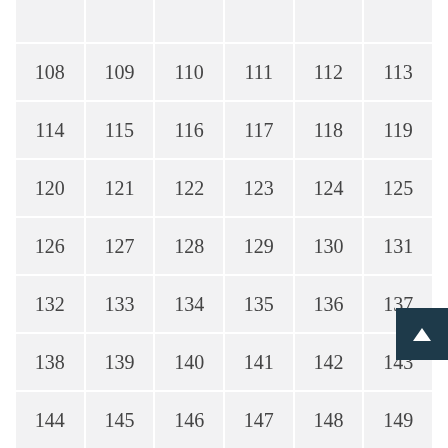|  |  |  |  |  |  |
| 108 | 109 | 110 | 111 | 112 | 113 |
| 114 | 115 | 116 | 117 | 118 | 119 |
| 120 | 121 | 122 | 123 | 124 | 125 |
| 126 | 127 | 128 | 129 | 130 | 131 |
| 132 | 133 | 134 | 135 | 136 | 137 |
| 138 | 139 | 140 | 141 | 142 | 143 |
| 144 | 145 | 146 | 147 | 148 | 149 |
| 150 | 151 | 152 | 153 | 154 | 155 |
| 156 | 157 | 158 | > |  |  |